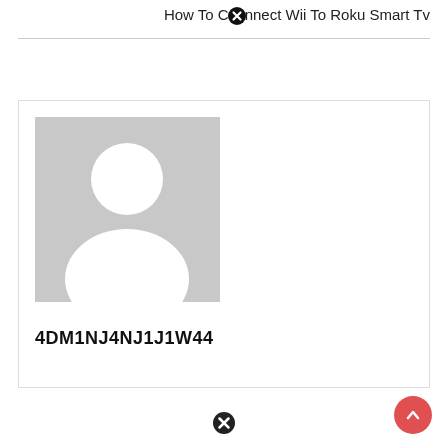How To Connect Wii To Roku Smart Tv
[Figure (illustration): User profile card with a grey placeholder avatar image (person silhouette) and bold username text '4DM1NJ4NJ1J1W44' below]
4DM1NJ4NJ1J1W44